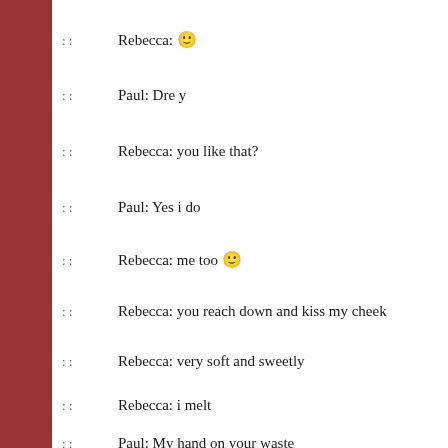: :   Rebecca: 🙂
: :   Paul: Dre y
: :   Rebecca: you like that?
: :   Paul: Yes i do
: :   Rebecca: me too 🙂
: :   Rebecca: you reach down and kiss my cheek
: :   Rebecca: very soft and sweetly
: :   Rebecca: i melt
: :   Paul: My hand on your waste